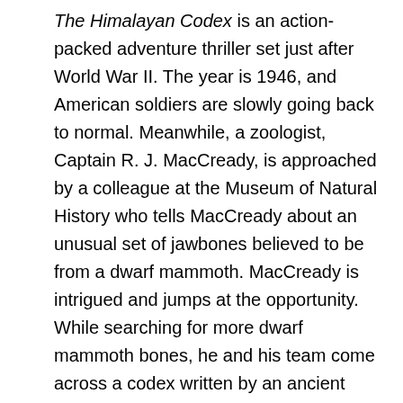The Himalayan Codex is an action-packed adventure thriller set just after World War II. The year is 1946, and American soldiers are slowly going back to normal. Meanwhile, a zoologist, Captain R. J. MacCready, is approached by a colleague at the Museum of Natural History who tells MacCready about an unusual set of jawbones believed to be from a dwarf mammoth. MacCready is intrigued and jumps at the opportunity. While searching for more dwarf mammoth bones, he and his team come across a codex written by an ancient Roman historian, Pliny the Elder. In the codex, Pliny describes a creature that is strikingly similar to the Yeti. However, as MacCready's team explores further, they discover that Pliny actually discovered a whole new human race that would turn the theory of evolution upside down. Suddenly, the members of MacCready's team find themselves at the mercy of Chinese and Soviet communist soldiers who are also after the discovery. Now he and his team must